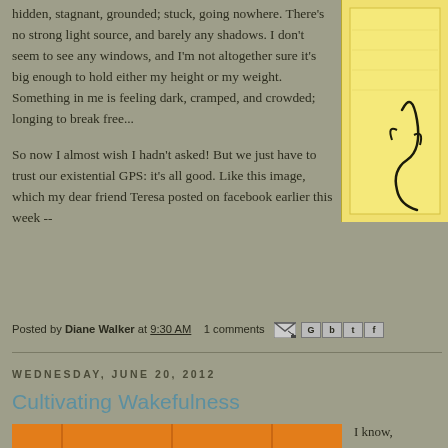hidden, stagnant, grounded; stuck, going nowhere. There's no strong light source, and barely any shadows. I don't seem to see any windows, and I'm not altogether sure it's big enough to hold either my height or my weight. Something in me is feeling dark, cramped, and crowded; longing to break free...
So now I almost wish I hadn't asked! But we just have to trust our existential GPS: it's all good. Like this image, which my dear friend Teresa posted on facebook earlier this week --
[Figure (illustration): Yellow notepad with black ink drawing of a figure, partial view on right side]
Posted by Diane Walker at 9:30 AM   1 comments
WEDNESDAY, JUNE 20, 2012
Cultivating Wakefulness
[Figure (illustration): Orange/yellow illustrated image strip at bottom]
I know,